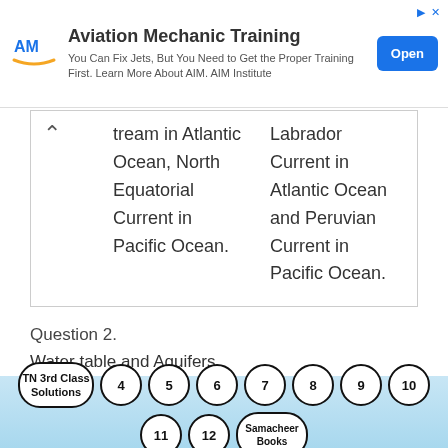[Figure (other): Aviation Mechanic Training advertisement banner with AIM logo and Open button]
| [partial] ...tream in Atlantic Ocean, North Equatorial Current in Pacific Ocean. | Labrador Current in Atlantic Ocean and Peruvian Current in Pacific Ocean. |
Question 2.
Water table and Aquifers.
Answer:
TN 3rd Class Solutions | 4 | 5 | 6 | 7 | 8 | 9 | 10 | 11 | 12 | Samacheer Books